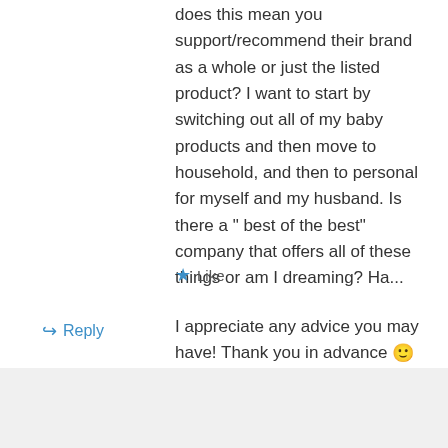does this mean you support/recommend their brand as a whole or just the listed product? I want to start by switching out all of my baby products and then move to household, and then to personal for myself and my husband. Is there a " best of the best" company that offers all of these things or am I dreaming? Ha...
I appreciate any advice you may have! Thank you in advance 🙂
★ Like
↪ Reply
ecofriendlymamausa on June 12, 2016 at 8:37 pm